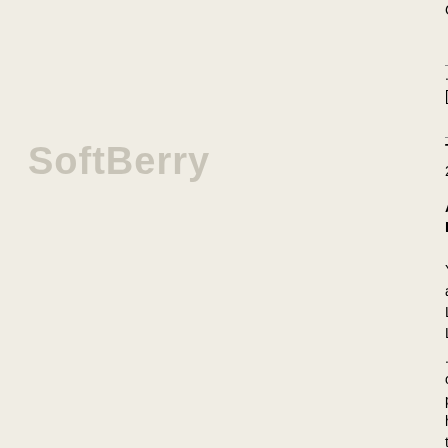Cambridge, Massachusetts, United State...
...Contig 1.2 was analysed by 4 different [24], GenemarkHMM [31], SNAP [32] and...
The Plant Cell May
2011 vol. 23 no. 5 1861-1875 DOI: 10.?1...
A Small Zinc Finger Thylakoid Protein Photosystem II in Arabidopsis thaliana
Yan Lu a, 1, David A. Hall a and Robert L. aDepartment of Biochemistry and Molecu Lansing, Michigan 48824 bDepartment o Lansing, Michigan 48824
...Complete genomic sequence (including original partial sequence) was used to pre program (a Hidden Markov Model-based http://linux1.softberry.com/berry.phtml? topic=fgenesh&group=programs&subgro...
PLoS ONE
(2011), 6(3): e17505. doi:10.1371/journa...
Elucidation of Functional Markers from Regulator FlbB and Their Phylogenetic...